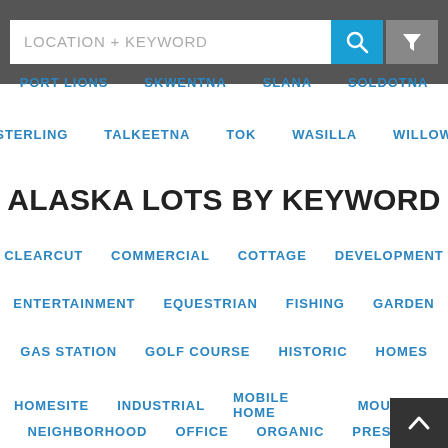[Figure (screenshot): Search bar with LOCATION + KEYWORD placeholder text, blue search icon button, and gray filter funnel icon button]
PORT LIONS
SKWENTNA
SLANA
SOLDOTNA
STERLING
TALKEETNA
TOK
WASILLA
WILLOW
ALASKA LOTS BY KEYWORD
CLEARCUT
COMMERCIAL
COTTAGE
DEVELOPMENT
ENTERTAINMENT
EQUESTRIAN
FISHING
GARDEN
GAS STATION
GOLF COURSE
HISTORIC
HOMES
HOMESITE
INDUSTRIAL
MOBILE HOME
MOUNTAIN
NEIGHBORHOOD
OFFICE
ORGANIC
PRESERV…